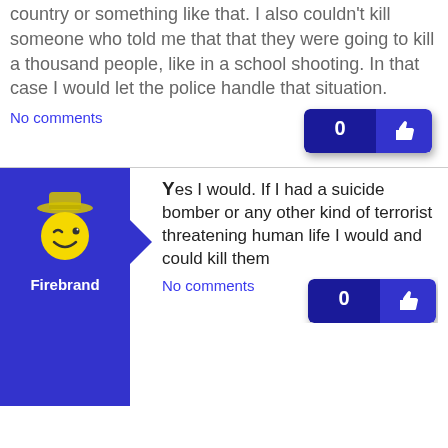country or something like that. I also couldn't kill someone who told me that that they were going to kill a thousand people, like in a school shooting. In that case I would let the police handle that situation.
No comments
[Figure (illustration): Like button with count 0 and thumbs up icon]
Firebrand
Yes I would. If I had a suicide bomber or any other kind of terrorist threatening human life I would and could kill them
No comments
[Figure (illustration): Like button with count 0 and thumbs up icon]